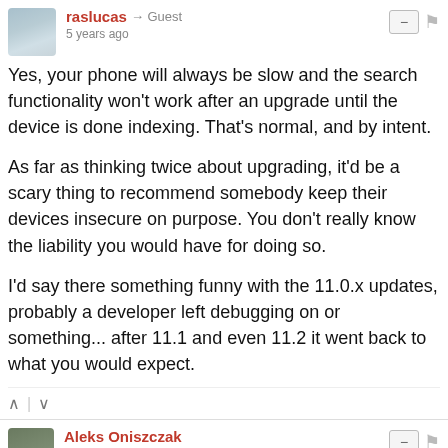raslucas → Guest
5 years ago
Yes, your phone will always be slow and the search functionality won't work after an upgrade until the device is done indexing. That's normal, and by intent.

As far as thinking twice about upgrading, it'd be a scary thing to recommend somebody keep their devices insecure on purpose. You don't really know the liability you would have for doing so.

I'd say there something funny with the 11.0.x updates, probably a developer left debugging on or something... after 11.1 and even 11.2 it went back to what you would expect.
Aleks Oniszczak
5 years ago
Maybe his battery just happened to reach the level in which Apple [obscured] ded.
2